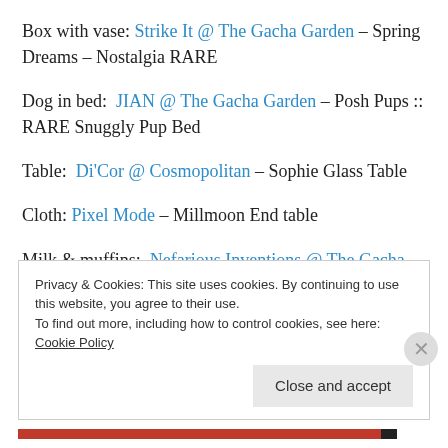Box with vase: Strike It @ The Gacha Garden – Spring Dreams – Nostalgia RARE
Dog in bed:  JIAN @ The Gacha Garden – Posh Pups :: RARE Snuggly Pup Bed
Table:  Di'Cor @ Cosmopolitan – Sophie Glass Table
Cloth: Pixel Mode – Millmoon End table
Milk & muffins:  Nefarious Inventions @ The Gacha Garden – love.and.cholesterol.milk.and.muffins RARE
Privacy & Cookies: This site uses cookies. By continuing to use this website, you agree to their use.
To find out more, including how to control cookies, see here: Cookie Policy
Close and accept